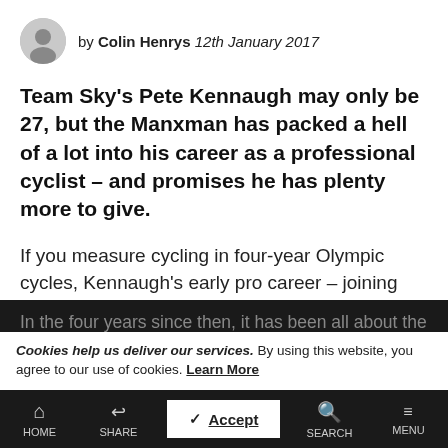by Colin Henrys 12th January 2017
Team Sky's Pete Kennaugh may only be 27, but the Manxman has packed a hell of a lot into his career as a professional cyclist – and promises he has plenty more to give.
If you measure cycling in four-year Olympic cycles, Kennaugh's early pro career – joining Team Sky at the British WorldTour team's inception inception in 2010 – was halfway through a journey which ultimately led to an Olympic team pursuit gold medal on the London 2012 track.
In the four years since then, it has been all about the road – a Tour de France... followed
Cookies help us deliver our services. By using this website, you agree to our use of cookies. Learn More
HOME   SHARE   Accept   SEARCH   MENU